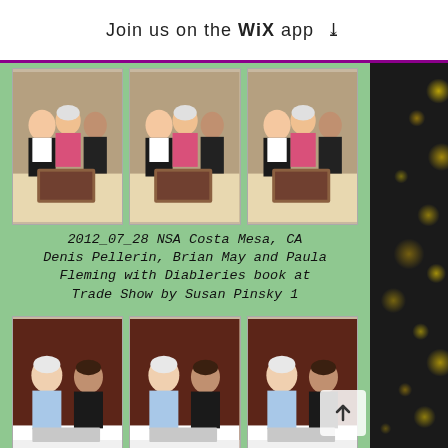Join us on the WiX app ↓
[Figure (photo): Three repeated photos of Denis Pellerin, Brian May and Paula Fleming at a trade show table with the Diableries book]
2012_07_28 NSA Costa Mesa, CA Denis Pellerin, Brian May and Paula Fleming with Diableries book at Trade Show by Susan Pinsky 1
[Figure (photo): Three repeated photos of David Starkman and Brian May seated at a table]
2012_07_28 NSA Costa Mesa CA David Starkman and Brian May by Susan Pinsky
[Figure (photo): Three repeated photos of people at an event, partially visible at bottom of page]